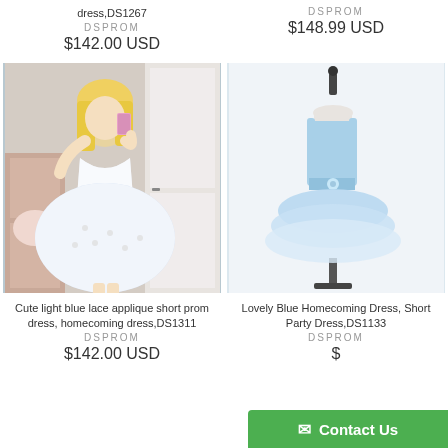dress,DS1267
DSPROM
$142.00 USD
DSPROM
$148.99 USD
[Figure (photo): Blonde woman in mirror selfie wearing a light blue lace applique short prom/homecoming dress]
[Figure (photo): Mannequin wearing a lovely blue homecoming short party dress with layered organza skirt]
Cute light blue lace applique short prom dress, homecoming dress,DS1311
DSPROM
Lovely Blue Homecoming Dress, Short Party Dress,DS1133
DSPROM
$
Contact Us